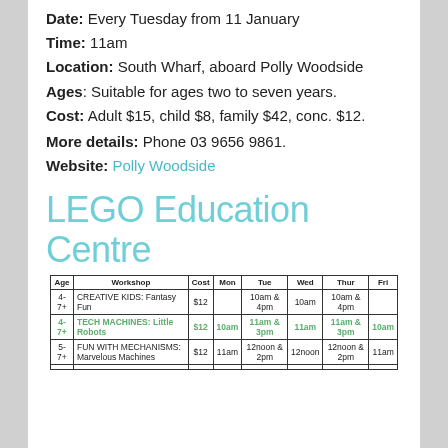Date: Every Tuesday from 11 January
Time: 11am
Location: South Wharf, aboard Polly Woodside
Ages: Suitable for ages two to seven years.
Cost: Adult $15, child $8, family $42, conc. $12.
More details: Phone 03 9656 9861.
Website: Polly Woodside
LEGO Education Centre
| Age | Workshop | Cost | Mon | Tue | Wed | Thur | Fri |
| --- | --- | --- | --- | --- | --- | --- | --- |
| 4-7+ | CREATIVE KIDS: Fantasy Fun | $12 |  | 10am & 4pm | 10am | 10am & 4pm |  |
| 4-7+ | TECH MACHINES: Little Robots | $12 | 10am | 11am & 3pm | 11am | 11am & 3pm | 10am |
| 5-7+ | FUN WITH MECHANISMS: Marvelous Machines | $12 | 11am | 12noon & 2pm | 12noon | 12noon & 2pm | 11am |